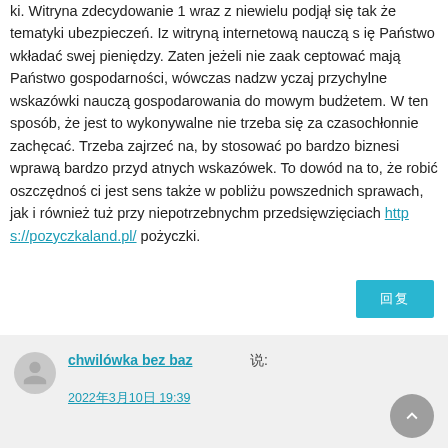ki. Witryna zdecydowanie 1 wraz z niewielu podjął się tak że tematyki ubezpieczeń. Iz witryną internetową nauczą się Państwo wkładać swej pieniędzy. Zaten jeżeli nie zaakceptować mają Państwo gospodarności, wówczas nadzwyczaj przychylne wskazówki nauczą gospodarowania domowym budżetem. W ten sposób, że jest to wykonywalne nie trzeba się za czasochłonnie zachęcać. Trzeba zajrzeć na, by stosować po bardzo biznesi wprawą bardzo przydatnych wskazówek. To dowód na to, że robić oszczędności jest sens także w pobliżu powszednich sprawach, jak i również tuż przy niepotrzebnychm przedsięwzięciach https://pozyczkaland.pl/ pożyczki.
chwilówka bez baz 说: 2022年3月10日 19:39